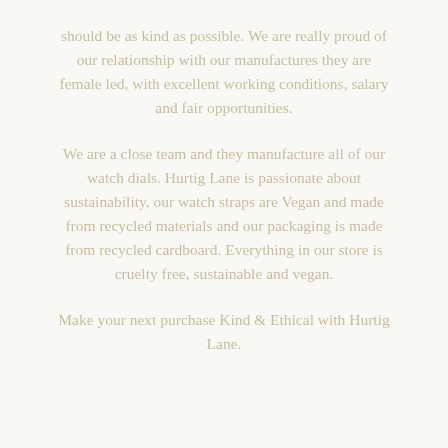should be as kind as possible. We are really proud of our relationship with our manufactures they are female led, with excellent working conditions, salary and fair opportunities.
We are a close team and they manufacture all of our watch dials. Hurtig Lane is passionate about sustainability, our watch straps are Vegan and made from recycled materials and our packaging is made from recycled cardboard. Everything in our store is cruelty free, sustainable and vegan.
Make your next purchase Kind & Ethical with Hurtig Lane.